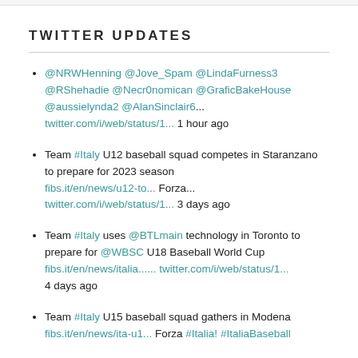TWITTER UPDATES
@NRWHenning @Jove_Spam @LindaFurness3 @RShehadie @Necr0nomican @GraficBakeHouse @aussielynda2 @AlanSinclair6... twitter.com/i/web/status/1... 1 hour ago
Team #Italy U12 baseball squad competes in Staranzano to prepare for 2023 season fibs.it/en/news/u12-to... Forza... twitter.com/i/web/status/1... 3 days ago
Team #Italy uses @BTLmain technology in Toronto to prepare for @WBSC U18 Baseball World Cup fibs.it/en/news/italia...... twitter.com/i/web/status/1... 4 days ago
Team #Italy U15 baseball squad gathers in Modena fibs.it/en/news/ita-u1... Forza #Italia! #ItaliaBaseball